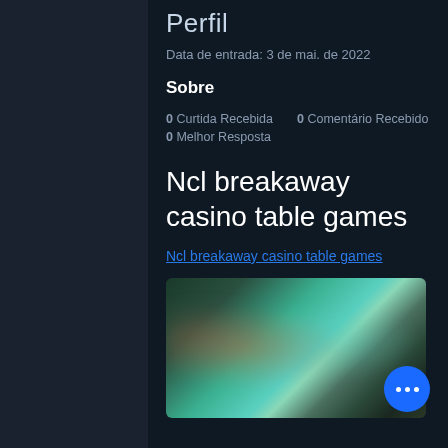Perfil
Data de entrada: 3 de mai. de 2022
Sobre
0 Curtida Recebida   0 Comentário Recebido
0 Melhor Resposta
Ncl breakaway casino table games
Ncl breakaway casino table games
[Figure (photo): Blurred screenshot of casino table games, colorful blurred image with teal and brown tones, with a blue circular FAB button with three dots in the bottom right corner]